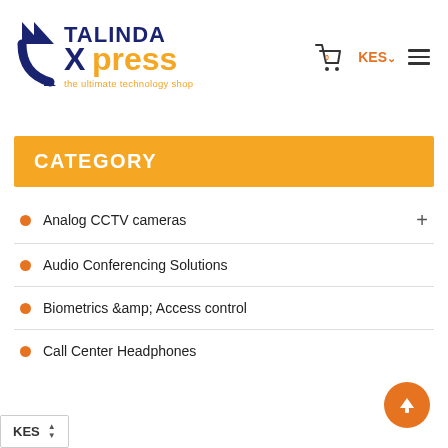[Figure (logo): Talinda Xpress logo - the ultimate technology shop]
CATEGORY
Analog CCTV cameras
Audio Conferencing Solutions
Biometrics &amp; Access control
Call Center Headphones